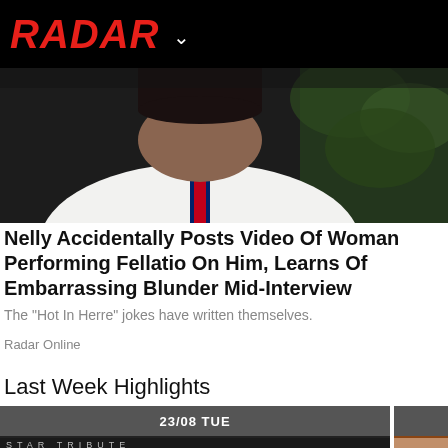RADAR
[Figure (photo): Photo of man wearing white t-shirt with red and navy striped collar detail, dark background with green foliage]
Nelly Accidentally Posts Video Of Woman Performing Fellatio On Him, Learns Of Embarrassing Blunder Mid-Interview
The "Hot In Herre" jokes have written themselves.
Radar Online
Last Week Highlights
23/08 TUE
[Figure (photo): Man with curly dark hair at a Stars Tribute event, text overlay STAR TRIBUTE]
[Figure (photo): Woman with blonde hair, text overlay reads 'Arrested: Police Ma...']